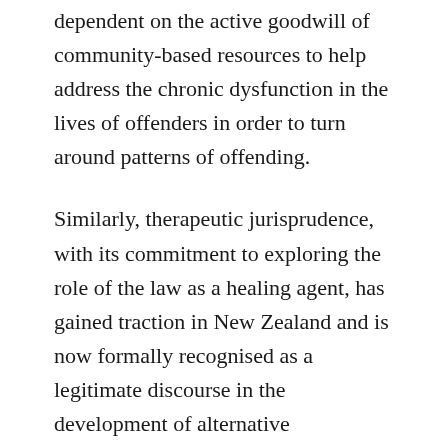dependent on the active goodwill of community-based resources to help address the chronic dysfunction in the lives of offenders in order to turn around patterns of offending.
Similarly, therapeutic jurisprudence, with its commitment to exploring the role of the law as a healing agent, has gained traction in New Zealand and is now formally recognised as a legitimate discourse in the development of alternative approaches to legal problem-solving. In future it is anticipated that the embedding in legislation of notions of apology and procedural justice, will lead to fundamental changes in the ways in which the